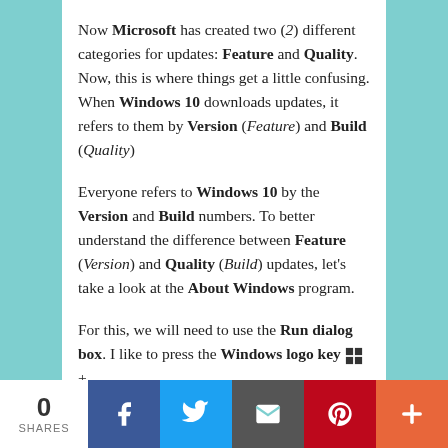Now Microsoft has created two (2) different categories for updates: Feature and Quality. Now, this is where things get a little confusing. When Windows 10 downloads updates, it refers to them by Version (Feature) and Build (Quality)
Everyone refers to Windows 10 by the Version and Build numbers. To better understand the difference between Feature (Version) and Quality (Build) updates, let's take a look at the About Windows program.
For this, we will need to use the Run dialog box. I like to press the Windows logo key +